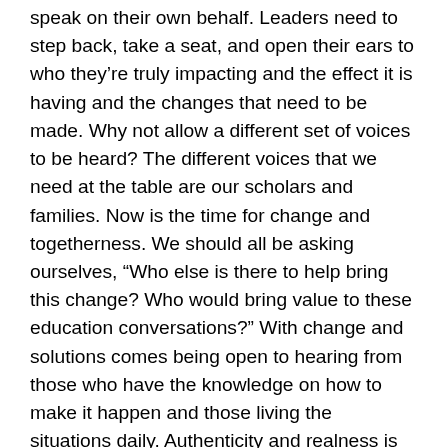speak on their own behalf. Leaders need to step back, take a seat, and open their ears to who they're truly impacting and the effect it is having and the changes that need to be made. Why not allow a different set of voices to be heard? The different voices that we need at the table are our scholars and families. Now is the time for change and togetherness. We should all be asking ourselves, “Who else is there to help bring this change? Who would bring value to these education conversations?” With change and solutions comes being open to hearing from those who have the knowledge on how to make it happen and those living the situations daily. Authenticity and realness is what’s needed in today’s educational landscape. We speak on behalf of our scholars and families as if they can’t speak for themselves. When changes are made that don’t necessarily benefit them and they challenge the leaders, we want to deem it disrespectful or an interruption. If they were allowed the platform and opportunity to have a voice to speak beforehand then it wouldn’t be such a divide, and definitely trust would return to